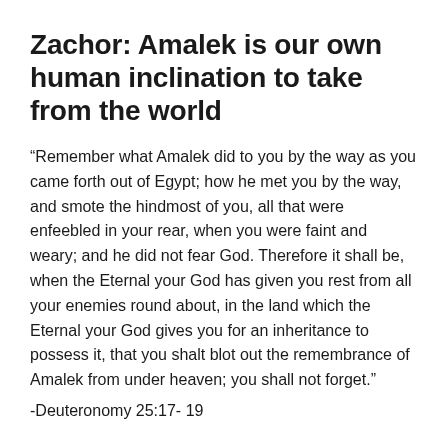Zachor: Amalek is our own human inclination to take from the world
“Remember what Amalek did to you by the way as you came forth out of Egypt; how he met you by the way, and smote the hindmost of you, all that were enfeebled in your rear, when you were faint and weary; and he did not fear God. Therefore it shall be, when the Eternal your God has given you rest from all your enemies round about, in the land which the Eternal your God gives you for an inheritance to possess it, that you shalt blot out the remembrance of Amalek from under heaven; you shall not forget.”
-Deuteronomy 25:17- 19